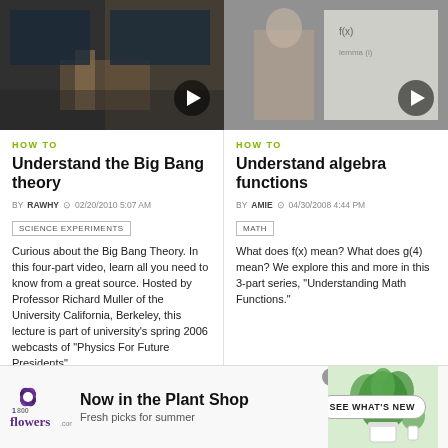[Figure (screenshot): Video thumbnail of a lecture hall with a professor at a podium, with a play button overlay]
HOW TO
Understand the Big Bang theory
BY RAWHY   02/20/2010 5:07 AM
SCIENCE EXPERIMENTS
Curious about the Big Bang Theory. In this four-part video, learn all you need to know from a great source. Hosted by Professor Richard Muller of the University California, Berkeley, this lecture is part of university's spring 2006 webcasts of "Physics For Future Presidents".
[Figure (screenshot): Video thumbnail of a man in front of a whiteboard, with a play button overlay]
HOW TO
Understand algebra functions
BY AMIE   04/30/2008 4:44 PM
MATH
What does f(x) mean? What does g(4) mean? We explore this and more in this 3-part series, "Understanding Math Functions."
[Figure (photo): Advertisement for 1-800-flowers.com Plant Shop showing a plant and SEE WHAT'S NEW button]